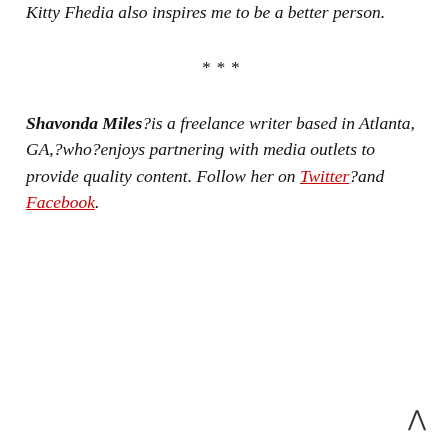Kitty Fhedia also inspires me to be a better person.
***
Shavonda Miles?is a freelance writer based in Atlanta, GA,?who?enjoys partnering with media outlets to provide quality content. Follow her on Twitter?and Facebook.